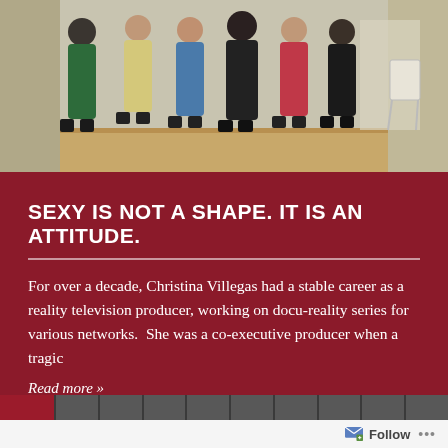[Figure (photo): Group photo of women in workout/dance attire standing together in what appears to be a dance studio or gym with wooden floors]
SEXY IS NOT A SHAPE. IT IS AN ATTITUDE.
For over a decade, Christina Villegas had a stable career as a reality television producer, working on docu-reality series for various networks. She was a co-executive producer when a tragic
Read more »